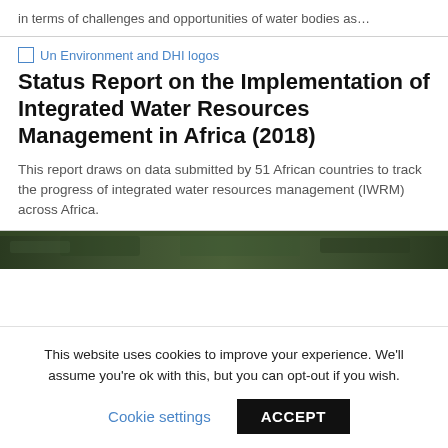in terms of challenges and opportunities of water bodies as…
[Figure (logo): Un Environment and DHI logos]
Status Report on the Implementation of Integrated Water Resources Management in Africa (2018)
This report draws on data submitted by 51 African countries to track the progress of integrated water resources management (IWRM) across Africa.
[Figure (photo): Aerial or landscape photo strip of water/forest area]
This website uses cookies to improve your experience. We'll assume you're ok with this, but you can opt-out if you wish.
Cookie settings   ACCEPT